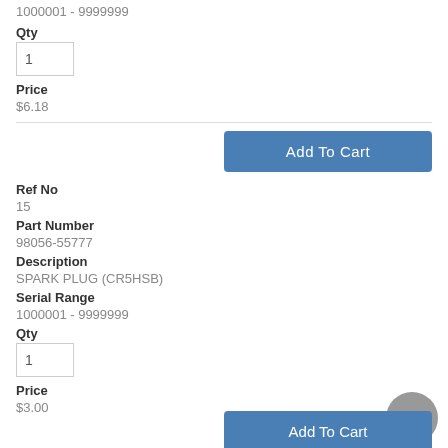1000001 - 9999999
Qty
Price
$6.18
Ref No
15
Part Number
98056-55777
Description
SPARK PLUG (CR5HSB)
Serial Range
1000001 - 9999999
Qty
Price
$3.00